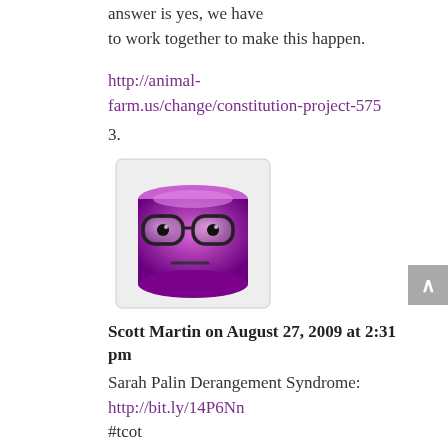answer is yes, we have to work together to make this happen.
http://animal-farm.us/change/constitution-project-575
3.
[Figure (illustration): Purple cartoon avatar face with glasses and a neutral expression]
Scott Martin on August 27, 2009 at 2:31 pm
Sarah Palin Derangement Syndrome: http://bit.ly/14P6Nn #tcot
4.
[Figure (photo): Photo of a person sitting at a computer]